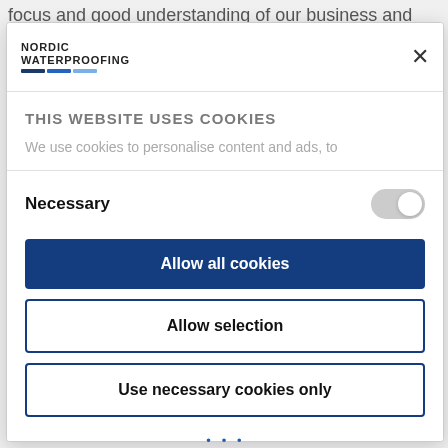focus and good understanding of our business and we see a
[Figure (screenshot): Cookie consent modal dialog for Nordic Waterproofing website. Contains logo, close button, cookie notice title, description text, Necessary toggle switch, Allow all cookies button (dark blue), Allow selection button (outlined), Use necessary cookies only button (outlined).]
background page link text at bottom